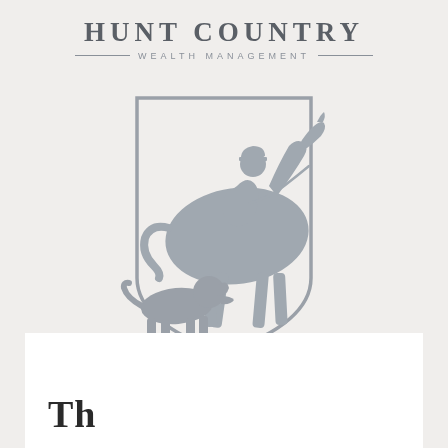[Figure (logo): Hunt Country Wealth Management logo featuring a mounted rider on horseback with a hunting dog, enclosed in a shield/crest shape, rendered in gray silhouette style]
The